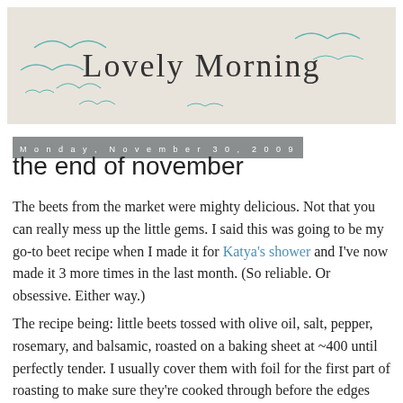[Figure (illustration): Blog header banner with light beige/gray background, decorative teal seagulls flying, and centered text 'Lovely Morning' in large serif font]
Monday, November 30, 2009
the end of november
The beets from the market were mighty delicious. Not that you can really mess up the little gems. I said this was going to be my go-to beet recipe when I made it for Katya's shower and I've now made it 3 more times in the last month. (So reliable. Or obsessive. Either way.)
The recipe being: little beets tossed with olive oil, salt, pepper, rosemary, and balsamic, roasted on a baking sheet at ~400 until perfectly tender. I usually cover them with foil for the first part of roasting to make sure they're cooked through before the edges start to burn.